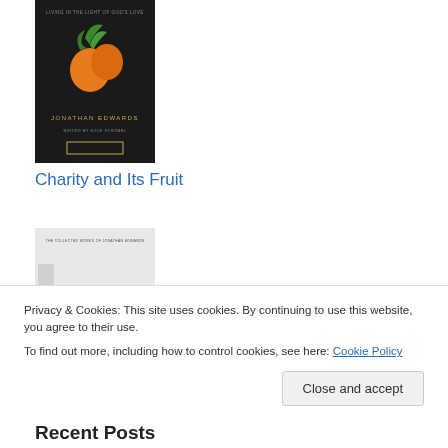[Figure (photo): Book cover: Charity and Its Fruit by Jonathan Edwards, black background with fruit illustration]
Charity and Its Fruit
[Figure (photo): Book cover: Faithful to Save, gray and purple cover]
Privacy & Cookies: This site uses cookies. By continuing to use this website, you agree to their use.
To find out more, including how to control cookies, see here: Cookie Policy
Close and accept
Recent Posts